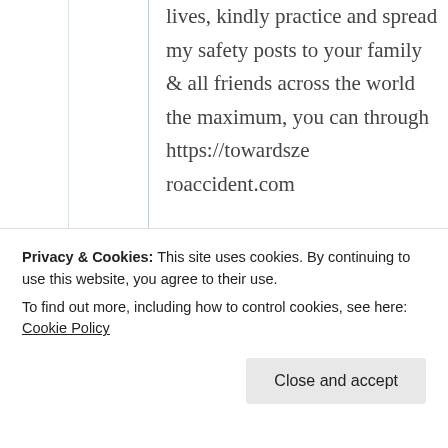lives, kindly practice and spread my safety posts to your family & all friends across the world the maximum, you can through https://towardszeroaccident.com
★ Liked by 1 person
Privacy & Cookies: This site uses cookies. By continuing to use this website, you agree to their use.
To find out more, including how to control cookies, see here: Cookie Policy
Close and accept
Just checked your blog…